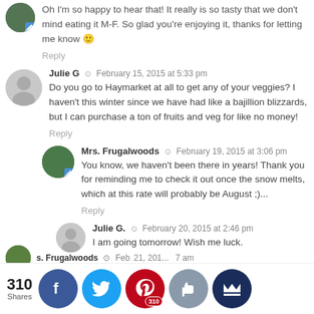Oh I'm so happy to hear that! It really is so tasty that we don't mind eating it M-F. So glad you're enjoying it, thanks for letting me know 🙂
Reply
Julie G  February 15, 2015 at 5:33 pm
Do you go to Haymarket at all to get any of your veggies? I haven't this winter since we have had like a bajillion blizzards, but I can purchase a ton of fruits and veg for like no money!
Reply
Mrs. Frugalwoods  February 19, 2015 at 3:06 pm
You know, we haven't been there in years! Thank you for reminding me to check it out once the snow melts, which at this rate will probably be August ;)...
Reply
Julie G.  February 20, 2015 at 2:46 pm
I am going tomorrow! Wish me luck.
310 Shares